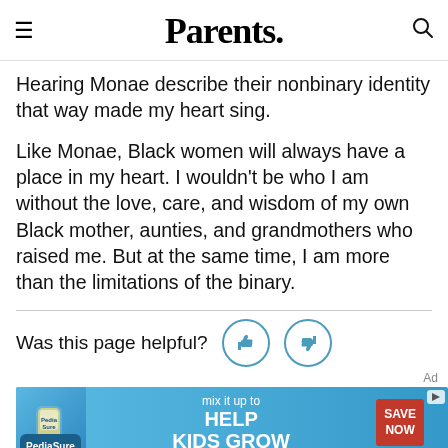Parents.
Hearing Monae describe their nonbinary identity that way made my heart sing.
Like Monae, Black women will always have a place in my heart. I wouldn't be who I am without the love, care, and wisdom of my own Black mother, aunties, and grandmothers who raised me. But at the same time, I am more than the limitations of the binary.
Was this page helpful?
[Figure (screenshot): PediaSure advertisement banner: 'mix it up to HELP KIDS GROW' with SAVE NOW button]